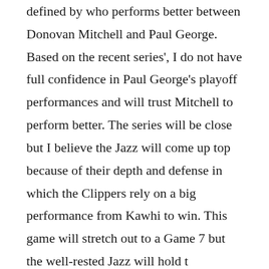defined by who performs better between Donovan Mitchell and Paul George. Based on the recent series', I do not have full confidence in Paul George's playoff performances and will trust Mitchell to perform better. The series will be close but I believe the Jazz will come up top because of their depth and defense in which the Clippers rely on a big performance from Kawhi to win. This game will stretch out to a Game 7 but the well-rested Jazz will hold t…